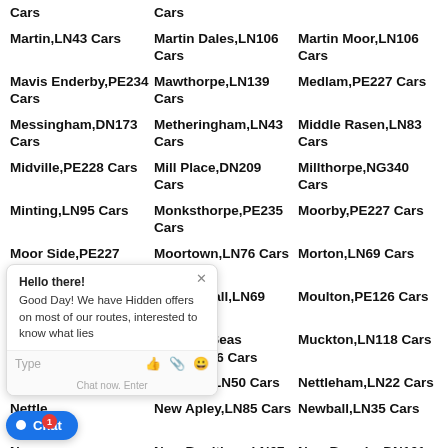Cars
Cars
Martin,LN43 Cars
Martin Dales,LN106 Cars
Martin Moor,LN106 Cars
Mavis Enderby,PE234 Cars
Mawthorpe,LN139 Cars
Medlam,PE227 Cars
Messingham,DN173 Cars
Metheringham,LN43 Cars
Middle Rasen,LN83 Cars
Midville,PE228 Cars
Mill Place,DN209 Cars
Millthorpe,NG340 Cars
Minting,LN95 Cars
Monksthorpe,PE235 Cars
Moorby,PE227 Cars
Moor Side,PE227 Cars
Moortown,LN76 Cars
Morton,LN69 Cars
Morton,PE100 Cars
Morton Hall,LN69 Cars
Moulton,PE126 Cars
Moulton Eaugate,... Cars
Moulton Seas End,PE126 Cars
Muckton,LN118 Cars
Mumby,... Cars
Navenby,LN50 Cars
Nettleham,LN22 Cars
Nettle... Cars
New Apley,LN85 Cars
Newball,LN35 Cars
New Bolingbroke,PE227 Cars
New Boultham,LN67 Cars
New Brumby,DN161 Cars
New...